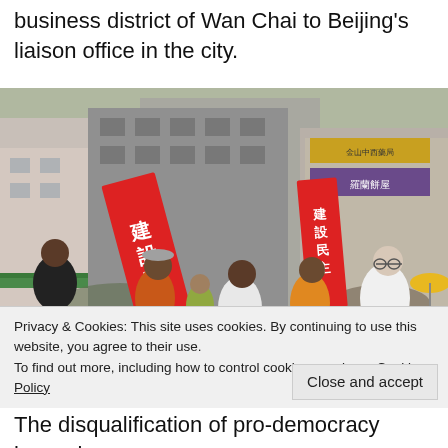business district of Wan Chai to Beijing's liaison office in the city.
[Figure (photo): Street protest in Hong Kong showing demonstrators carrying large red banners with Chinese characters walking through a busy commercial street. Buildings with shops visible in background.]
Privacy & Cookies: This site uses cookies. By continuing to use this website, you agree to their use.
To find out more, including how to control cookies, see here: Cookie Policy
Close and accept
The disqualification of pro-democracy lawmakers